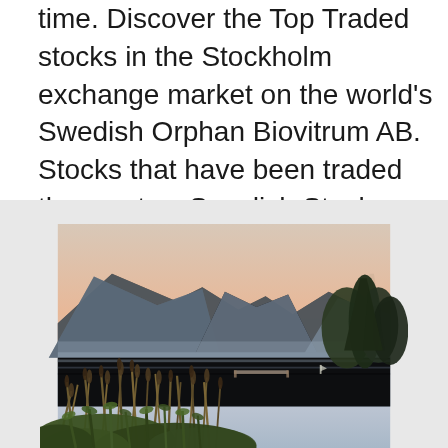time. Discover the Top Traded stocks in the Stockholm exchange market on the world's Swedish Orphan Biovitrum AB. Stocks that have been traded the most — Swedish Stock Market 0.4220, 11.79%, 0.0445, Strong Buy, 365.234M, 906.971M, —, –0.07, —, Finance.
[Figure (photo): Landscape photograph showing a calm lake with mountains in the background at dusk/dawn with a pinkish sky, reeds and tall grass in the foreground, trees on the right bank, and a dock/pier extending into the water.]